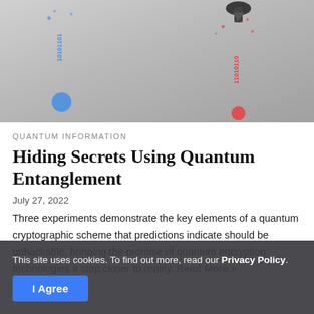[Figure (illustration): Stylized illustration of quantum cryptography showing blue and red binary data streams with lock/key symbols on a grey gradient background.]
QUANTUM INFORMATION
Hiding Secrets Using Quantum Entanglement
July 27, 2022
Three experiments demonstrate the key elements of a quantum cryptographic scheme that predictions indicate should be unhackable, bringing the promise of quantum encryption technologies a step closer to reality. Read More »